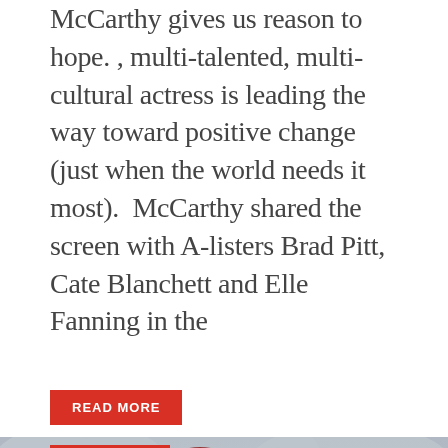McCarthy gives us reason to hope. , multi-talented, multi-cultural actress is leading the way toward positive change (just when the world needs it most).  McCarthy shared the screen with A-listers Brad Pitt, Cate Blanchett and Elle Fanning in the
READ MORE
[Figure (photo): Movie poster for 'Three Thousand Years of Longing', a George Miller film starring Idris Elba and Tilda Swinton. Shows two figures wrapped in a red cloak against a cloudy sky background. Text reads: IDRIS ELBA, TILDA SWINTON, A GEORGE MILLER FILM, THREE THOUSAND YEARS OF LONGING, What would you wish for?, ONLY IN MOVIE THEATERS THIS SUMMER. A red 'MAJORS' label tag appears in the top-left corner of the poster.]